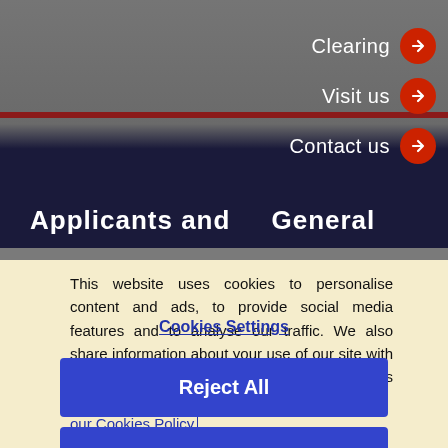Clearing →
Visit us →
Contact us →
Applicants and   General
This website uses cookies to personalise content and ads, to provide social media features and to analyse our traffic. We also share information about your use of our site with our social media, advertising and analytics partners. Read our Cookies Policy
Cookies Settings
Reject All
Accept All Cookies